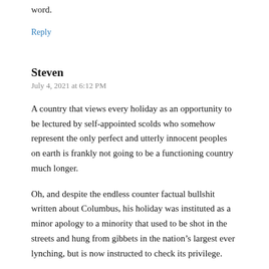word.
Reply
Steven
July 4, 2021 at 6:12 PM
A country that views every holiday as an opportunity to be lectured by self-appointed scolds who somehow represent the only perfect and utterly innocent peoples on earth is frankly not going to be a functioning country much longer.
Oh, and despite the endless counter factual bullshit written about Columbus, his holiday was instituted as a minor apology to a minority that used to be shot in the streets and hung from gibbets in the nation’s largest ever lynching, but is now instructed to check its privilege.
Pendulums swing. The harder one way, the harder the other